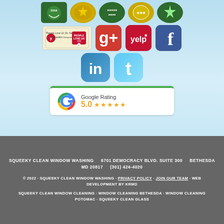[Figure (infographic): Social media and review platform icons: Yelp People Love Us banner, Google+, Yelp, Facebook, LinkedIn, Twitter logos. Below is a Google Rating badge showing 5.0 stars.]
SQUEEKY CLEAN WINDOW WASHING   6701 DEMOCRACY BLVD. SUITE 300   BETHESDA MD 20817   (301) 424-4020
© 2022 · SQUEEKY CLEAN WINDOW WASHING · PRIVACY POLICY · JOIN OUR TEAM · WEB DEVELOPMENT BY KRMD
SQUEEKY CLEAN WINDOW CLEANING · WINDOW CLEANING BETHESDA · WINDOW CLEANING POTOMAC · SQUEEKY CLEAN GLASS